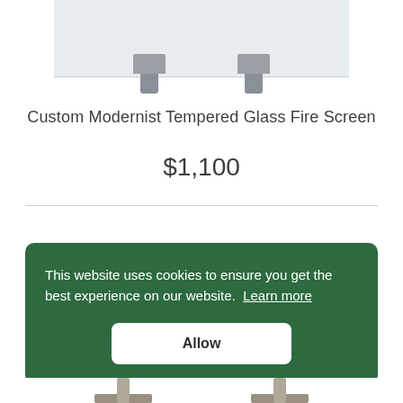[Figure (photo): Partial product photo showing the top portion of a Custom Modernist Tempered Glass Fire Screen with metal bracket stands, light gray glass panel and brushed steel brackets.]
Custom Modernist Tempered Glass Fire Screen
$1,100
This website uses cookies to ensure you get the best experience on our website.  Learn more
Allow